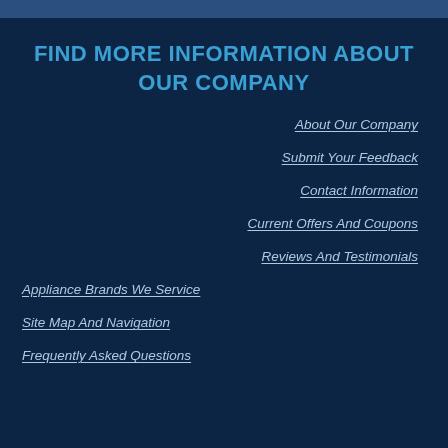FIND MORE INFORMATION ABOUT OUR COMPANY
About Our Company
Submit Your Feedback
Contact Information
Current Offers And Coupons
Reviews And Testimonials
Appliance Brands We Service
Site Map And Navigation
Frequently Asked Questions